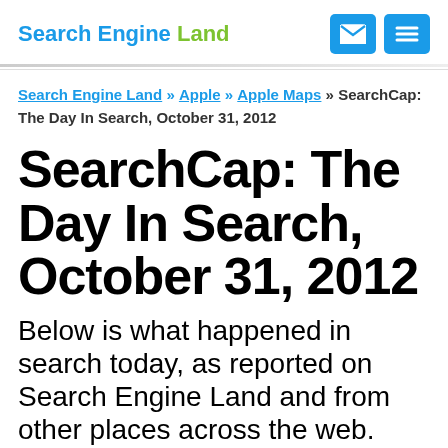Search Engine Land
Search Engine Land » Apple » Apple Maps » SearchCap: The Day In Search, October 31, 2012
SearchCap: The Day In Search, October 31, 2012
Below is what happened in search today, as reported on Search Engine Land and from other places across the web. From Search Engine Land: Google Loses Australian Defamation Case, Awaiting